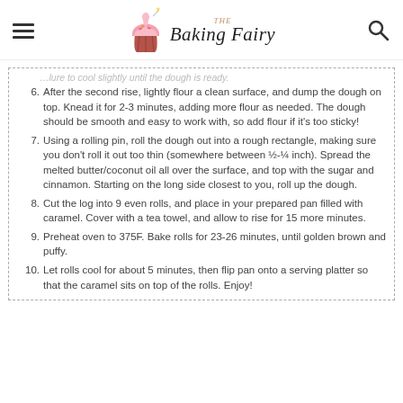The Baking Fairy
After the second rise, lightly flour a clean surface, and dump the dough on top. Knead it for 2-3 minutes, adding more flour as needed. The dough should be smooth and easy to work with, so add flour if it's too sticky!
Using a rolling pin, roll the dough out into a rough rectangle, making sure you don't roll it out too thin (somewhere between ½-¼ inch). Spread the melted butter/coconut oil all over the surface, and top with the sugar and cinnamon. Starting on the long side closest to you, roll up the dough.
Cut the log into 9 even rolls, and place in your prepared pan filled with caramel. Cover with a tea towel, and allow to rise for 15 more minutes.
Preheat oven to 375F. Bake rolls for 23-26 minutes, until golden brown and puffy.
Let rolls cool for about 5 minutes, then flip pan onto a serving platter so that the caramel sits on top of the rolls. Enjoy!